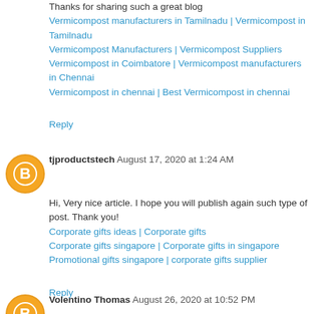Thanks for sharing such a great blog
Vermicompost manufacturers in Tamilnadu | Vermicompost in Tamilnadu
Vermicompost Manufacturers | Vermicompost Suppliers
Vermicompost in Coimbatore | Vermicompost manufacturers in Chennai
Vermicompost in chennai | Best Vermicompost in chennai
Reply
tjproductstech August 17, 2020 at 1:24 AM
Hi, Very nice article. I hope you will publish again such type of post. Thank you!
Corporate gifts ideas | Corporate gifts
Corporate gifts singapore | Corporate gifts in singapore
Promotional gifts singapore | corporate gifts supplier
Reply
Volentino Thomas August 26, 2020 at 10:52 PM